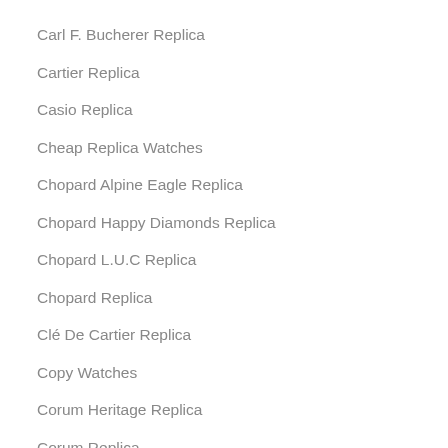Carl F. Bucherer Replica
Cartier Replica
Casio Replica
Cheap Replica Watches
Chopard Alpine Eagle Replica
Chopard Happy Diamonds Replica
Chopard L.U.C Replica
Chopard Replica
Clé De Cartier Replica
Copy Watches
Corum Heritage Replica
Corum Replica
Datejust